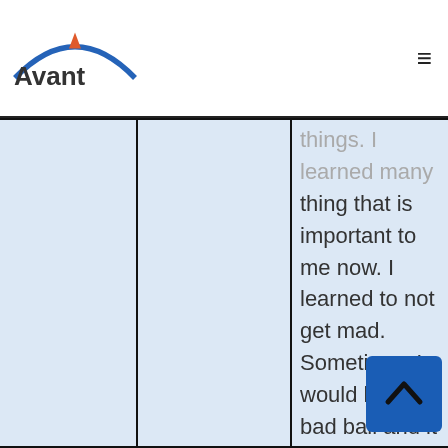Avant
things. I learned many thing that is important to me now. I learned to not get mad. Sometimes I would hit a bad ball and it would make me mad. I would bad the rest of the...